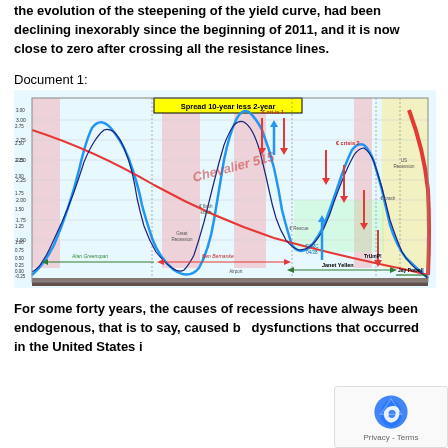the evolution of the steepening of the yield curve, had been declining inexorably since the beginning of 2011, and it is now close to zero after crossing all the resistance lines.
Document 1:
[Figure (continuous-plot): Chart titled 'Spread 10-year less 2-year' showing the US yield curve spread over several decades, annotated with Fed chairman eras (Alan Greenspan, Ben Bernanke, Janet Yellen, Jay Powell, Trump), crisis events (€ crisis 1, € crisis 2, € flash krach, Great Recession, € Rescue, FOMC 04/28, € crash, US Recession), and directional arrows. The spread oscillates in a wave pattern trending down toward zero/negative. The chart includes Chevalier 515 watermark.]
For some forty years, the causes of recessions have always been endogenous, that is to say, caused by dysfunctions that occurred in the United States i